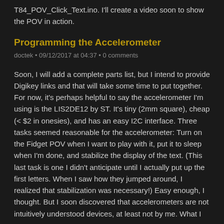T84_POV_Click_Text.ino. I'll create a video soon to show the POV in action.
Programming the Accelerometer
doctek • 09/12/2017 at 04:37 • 0 comments
Soon, I will add a complete parts list, but I intend to provide Digikey links and that will take some time to put together. For now, it's perhaps helpful to say the accelerometer I'm using is the LIS2DE12 by ST. It's tiny (2mm square), cheap (< $2 in onesies), and has an easy I2C interface. Three tasks seemed reasonable for the accelerometer: Turn on the Fidget POV when I want to play with it, put it to sleep when I'm done, and stabilize the display of the text. (This last task is one I didn't anticipate until I actually put up the first letters. When I saw how they jumped around, I realized that stabilization was necessary!) Easy enough, I thought. But I soon discovered that accelerometers are not intuitively understood devices, at least not by me. What I